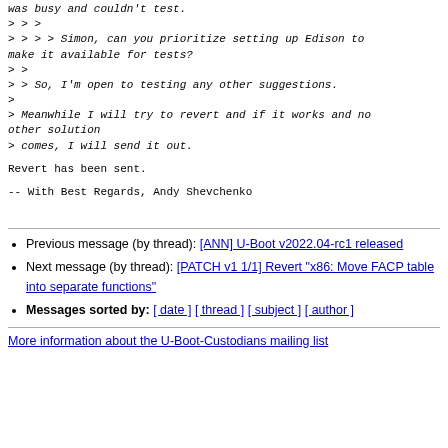was busy and couldn't test.
> > >
> > > > Simon, can you prioritize setting up Edison to make it available for tests?
> >
> > So, I'm open to testing any other suggestions.
>
> Meanwhile I will try to revert and if it works and no other solution
> comes, I will send it out.
Revert has been sent.
--
With Best Regards,
Andy Shevchenko
Previous message (by thread): [ANN] U-Boot v2022.04-rc1 released
Next message (by thread): [PATCH v1 1/1] Revert "x86: Move FACP table into separate functions"
Messages sorted by: [ date ] [ thread ] [ subject ] [ author ]
More information about the U-Boot-Custodians mailing list